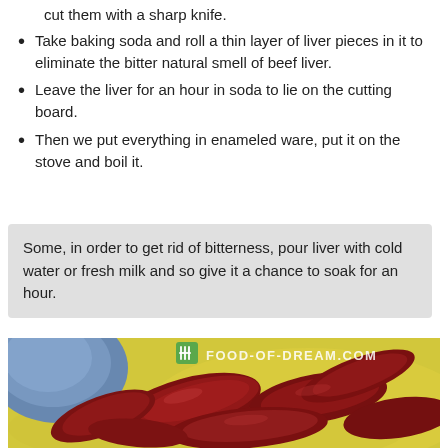cut them with a sharp knife.
Take baking soda and roll a thin layer of liver pieces in it to eliminate the bitter natural smell of beef liver.
Leave the liver for an hour in soda to lie on the cutting board.
Then we put everything in enameled ware, put it on the stove and boil it.
Some, in order to get rid of bitterness, pour liver with cold water or fresh milk and so give it a chance to soak for an hour.
[Figure (photo): Photo of sliced raw beef liver pieces on a yellow cutting board, with a blue plate visible in the upper left corner. A watermark reading FOOD-OF-DREAM.COM is overlaid on the image.]